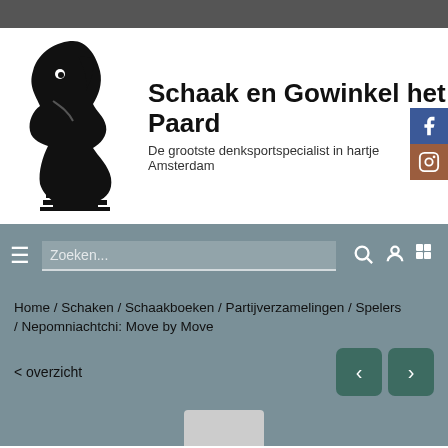[Figure (logo): Schaak en Gowinkel het Paard website screenshot with chess knight logo, site title, navigation bar, breadcrumb trail, and navigation arrows]
Schaak en Gowinkel het Paard
De grootste denksportspecialist in hartje Amsterdam
Home / Schaken / Schaakboeken / Partijverzamelingen / Spelers
/ Nepomniachtchi: Move by Move
< overzicht